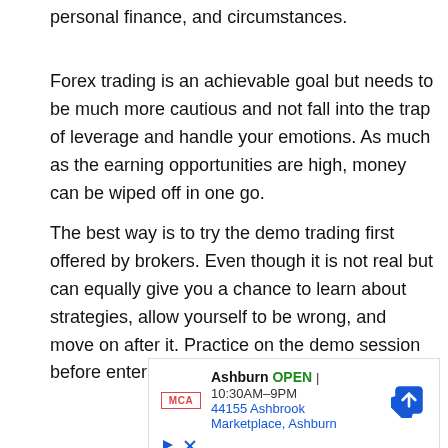personal finance, and circumstances.
Forex trading is an achievable goal but needs to be much more cautious and not fall into the trap of leverage and handle your emotions. As much as the earning opportunities are high, money can be wiped off in one go.
The best way is to try the demo trading first offered by brokers. Even though it is not real but can equally give you a chance to learn about strategies, allow yourself to be wrong, and move on after it. Practice on the demo session before entering the real world.
We'll also suggest that you save money before investing it in...
[Figure (other): Advertisement banner showing McA logo, Ashburn location OPEN 10:30AM-9PM, address 44155 Ashbrook Marketplace, Ashburn, with navigation arrow icon]